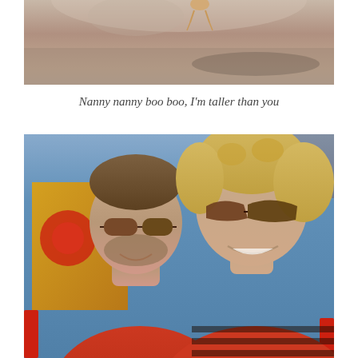[Figure (photo): Top portion of a photo showing a dog on a sandy/dirt ground surface, viewed from above]
Nanny nanny boo boo, I'm taller than you
[Figure (photo): Photo of a man and woman outdoors at what appears to be a restaurant or venue. The man has a beard and sunglasses, both are smiling. The woman has curly blonde hair and large sunglasses. Both wearing red/orange clothing.]